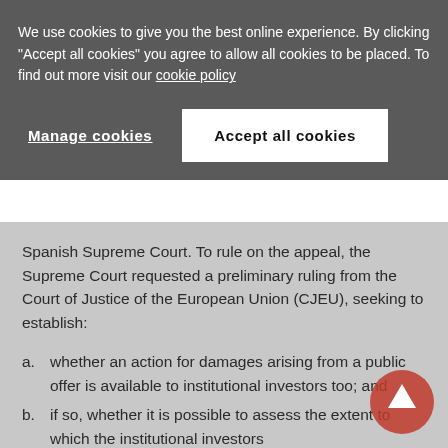We use cookies to give you the best online experience. By clicking "Accept all cookies" you agree to allow all cookies to be placed. To find out more visit our cookie policy
Manage cookies
Accept all cookies
Spanish Supreme Court. To rule on the appeal, the Supreme Court requested a preliminary ruling from the Court of Justice of the European Union (CJEU), seeking to establish:
a. whether an action for damages arising from a public offer is available to institutional investors too; and
b. if so, whether it is possible to assess the extent to which the institutional investors